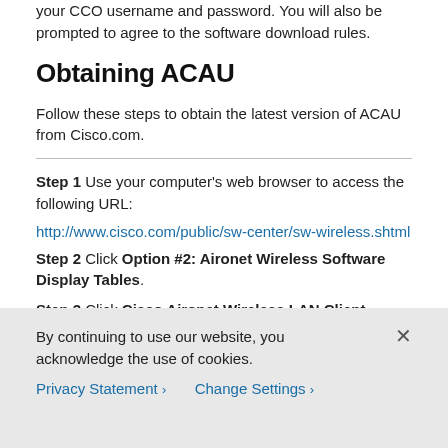Before downloading the file, you will be prompted to enter your CCO username and password. You will also be prompted to agree to the software download rules.
Obtaining ACAU
Follow these steps to obtain the latest version of ACAU from Cisco.com.
Step 1  Use your computer's web browser to access the following URL:
http://www.cisco.com/public/sw-center/sw-wireless.shtml
Step 2  Click Option #2: Aironet Wireless Software Display Tables.
Step 3  Click Cisco Aironet Wireless LAN Client Adapters.
Step 4  Scroll down to Windows Systems Administration
By continuing to use our website, you acknowledge the use of cookies.
Privacy Statement > Change Settings >